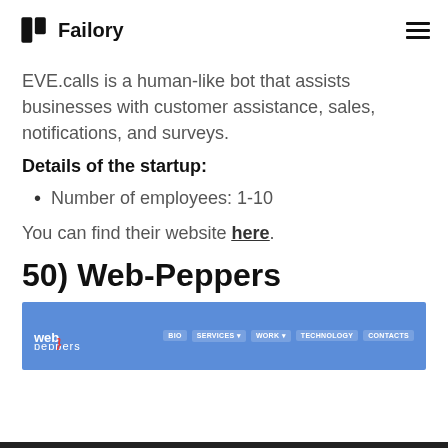Failory
EVE.calls is a human-like bot that assists businesses with customer assistance, sales, notifications, and surveys.
Details of the startup:
Number of employees: 1-10
You can find their website here.
50) Web-Peppers
[Figure (screenshot): Web-Peppers website header screenshot showing logo and navigation on a blue background]